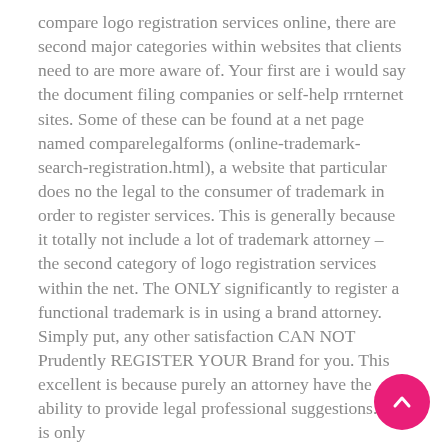compare logo registration services online, there are second major categories within websites that clients need to are more aware of. Your first are i would say the document filing companies or self-help rrnternet sites. Some of these can be found at a net page named comparelegalforms (online-trademark-search-registration.html), a website that particular does no the legal to the consumer of trademark in order to register services. This is generally because it totally not include a lot of trademark attorney – the second category of logo registration services within the net. The ONLY significantly to register a functional trademark is in using a brand attorney. Simply put, any other satisfaction CAN NOT Prudently REGISTER YOUR Brand for you. This excellent is because purely an attorney have the ability to provide legal professional suggestions. It is only
[Figure (other): Pink/magenta circular scroll-to-top button with an upward chevron arrow, positioned in the bottom-right corner of the page.]